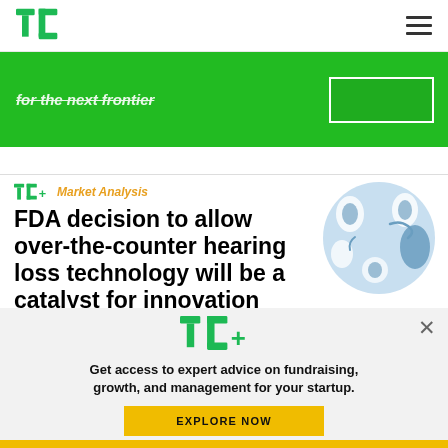TechCrunch logo and navigation
[Figure (screenshot): Green promotional banner with white text (partially visible, strikethrough style) and a white-bordered button on green background]
TC+ Market Analysis
FDA decision to allow over-the-counter hearing loss technology will be a catalyst for innovation
[Figure (illustration): Light blue circular illustration with stylized hearing aid/ear icons in various states]
[Figure (screenshot): TC+ modal overlay on light gray background with TC+ logo, tagline about expert advice, and yellow EXPLORE NOW button]
Get access to expert advice on fundraising, growth, and management for your startup.
EXPLORE NOW